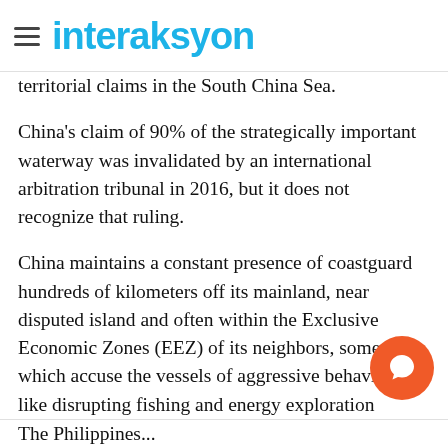interaksyon
territorial claims in the South China Sea.
China's claim of 90% of the strategically important waterway was invalidated by an international arbitration tribunal in 2016, but it does not recognize that ruling.
China maintains a constant presence of coastguard hundreds of kilometers off its mainland, near disputed island and often within the Exclusive Economic Zones (EEZ) of its neighbors, some of which accuse the vessels of aggressive behavior, like disrupting fishing and energy exploration activities.
Taiwan, Malaysia, Vietnam, the Philippines and B also have competing claims with China.
The Philippines...